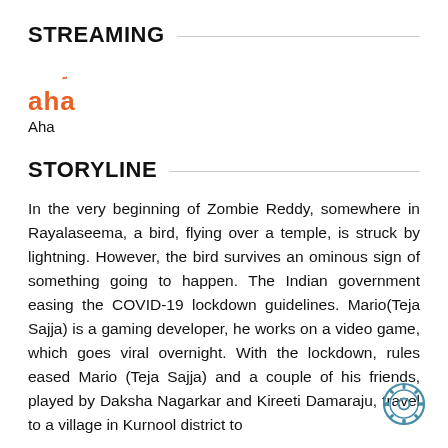STREAMING
[Figure (logo): aha streaming service logo in orange color with stylized tilde over the h]
Aha
STORYLINE
In the very beginning of Zombie Reddy, somewhere in Rayalaseema, a bird, flying over a temple, is struck by lightning. However, the bird survives an ominous sign of something going to happen. The Indian government easing the COVID-19 lockdown guidelines. Mario(Teja Sajja) is a gaming developer, he works on a video game, which goes viral overnight. With the lockdown, rules eased Mario (Teja Sajja) and a couple of his friends, played by Daksha Nagarkar and Kireeti Damaraju, travel to a village in Kurnool district to
[Figure (illustration): Small gear/settings icon in blue/teal color at bottom right corner]